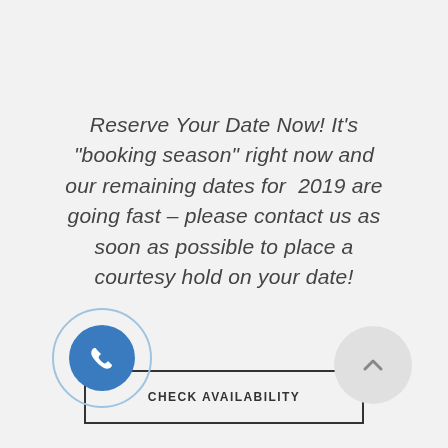Reserve Your Date Now! It's “booking season” right now and our remaining dates for 2019 are going fast – please contact us as soon as possible to place a courtesy hold on your date!
CHECK AVAILABILITY
[Figure (illustration): Phone icon inside a blue circle with a light blue outer ring]
[Figure (illustration): Scroll-to-top arrow icon inside a light grey circle]